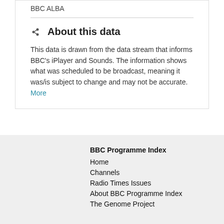BBC ALBA
About this data
This data is drawn from the data stream that informs BBC's iPlayer and Sounds. The information shows what was scheduled to be broadcast, meaning it was/is subject to change and may not be accurate. More
BBC Programme Index
Home
Channels
Radio Times Issues
About BBC Programme Index
The Genome Project